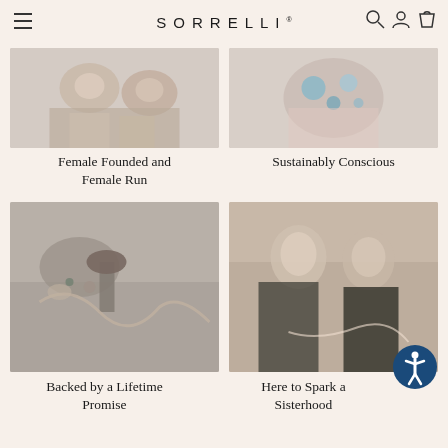SORRELLI
[Figure (photo): Photo of women working on jewelry, female hands crafting]
Female Founded and Female Run
[Figure (photo): Photo showing beads and jewelry-making materials, sustainably conscious]
Sustainably Conscious
[Figure (photo): Close-up photo of hands working on jewelry with tools]
Backed by a Lifetime Promise
[Figure (photo): Photo of two women laughing together, sisterhood]
Here to Spark a Sisterhood